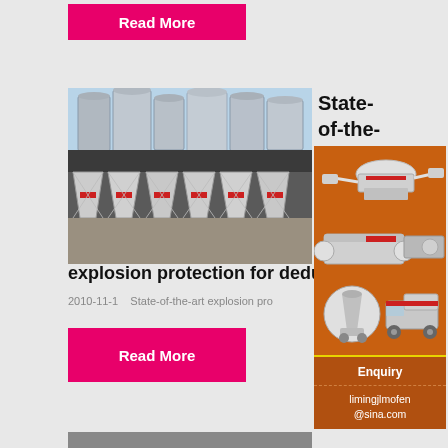Read More
[Figure (photo): Industrial facility with large metal silos/storage tanks and dust collection hoppers underneath a dark roof structure]
State-of-the-
explosion protection for dedusting
2010-11-1    State-of-the-art explosion pro...
Read More
[Figure (photo): Advertisement panel showing industrial crushing/mining machinery with orange background, discount offer, chat button, enquiry section and email limingjlmofen@sina.com]